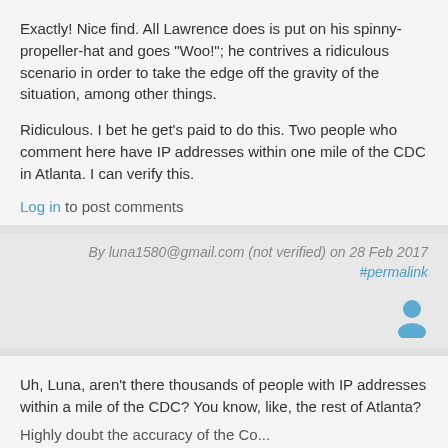Exactly! Nice find. All Lawrence does is put on his spinny-propeller-hat and goes "Woo!"; he contrives a ridiculous scenario in order to take the edge off the gravity of the situation, among other things.
Ridiculous. I bet he get's paid to do this. Two people who comment here have IP addresses within one mile of the CDC in Atlanta. I can verify this.
Log in to post comments
By luna1580@gmail.com (not verified) on 28 Feb 2017 #permalink
[Figure (other): User avatar icon in blue/gray]
Uh, Luna, aren't there thousands of people with IP addresses within a mile of the CDC? You know, like, the rest of Atlanta?